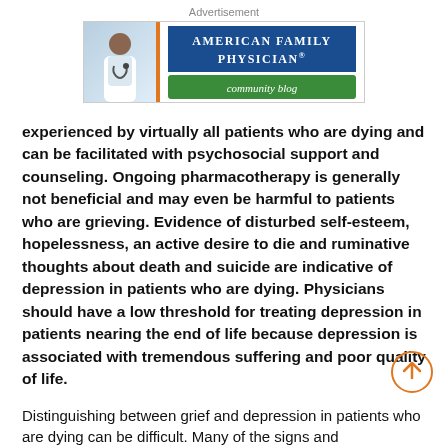[Figure (logo): Advertisement banner for American Family Physician community blog, showing a physician photo on the left, an orange divider, and the journal title in blue with a green 'community blog' subtitle banner.]
experienced by virtually all patients who are dying and can be facilitated with psychosocial support and counseling. Ongoing pharmacotherapy is generally not beneficial and may even be harmful to patients who are grieving. Evidence of disturbed self-esteem, hopelessness, an active desire to die and ruminative thoughts about death and suicide are indicative of depression in patients who are dying. Physicians should have a low threshold for treating depression in patients nearing the end of life because depression is associated with tremendous suffering and poor quality of life.
Distinguishing between grief and depression in patients who are dying can be difficult. Many of the signs and